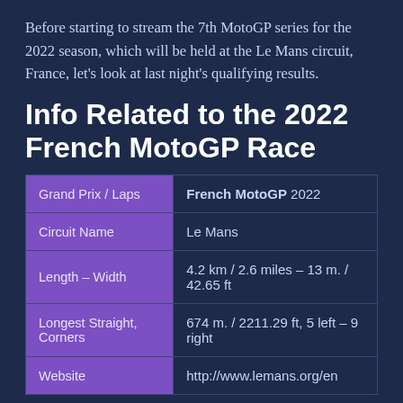Before starting to stream the 7th MotoGP series for the 2022 season, which will be held at the Le Mans circuit, France, let's look at last night's qualifying results.
Info Related to the 2022 French MotoGP Race
| Grand Prix / Laps | French MotoGP 2022 |
| --- | --- |
| Circuit Name | Le Mans |
| Length – Width | 4.2 km / 2.6 miles – 13 m. / 42.65 ft |
| Longest Straight, Corners | 674 m. / 2211.29 ft, 5 left – 9 right |
| Website | http://www.lemans.org/en |
France 2022 MotoGP Race Start